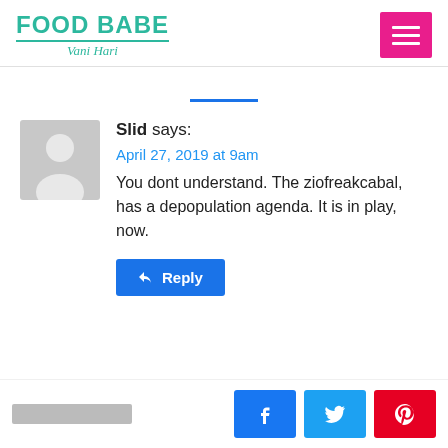FOOD BABE Vani Hari
Slid says:
April 27, 2019 at 9am
You dont understand. The ziofreakcabal, has a depopulation agenda. It is in play, now.
Reply